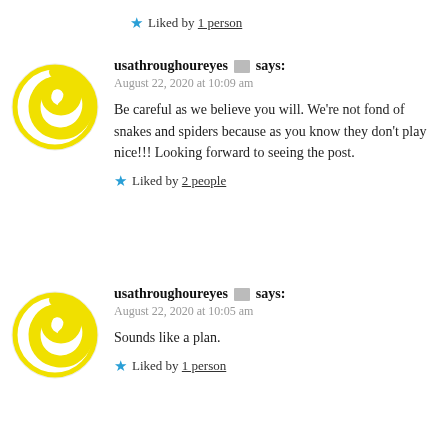★ Liked by 1 person
usathroughoureyes 🖼 says:
August 22, 2020 at 10:09 am

Be careful as we believe you will. We're not fond of snakes and spiders because as you know they don't play nice!!! Looking forward to seeing the post.

★ Liked by 2 people
usathroughoureyes 🖼 says:
August 22, 2020 at 10:05 am

Sounds like a plan.

★ Liked by 1 person